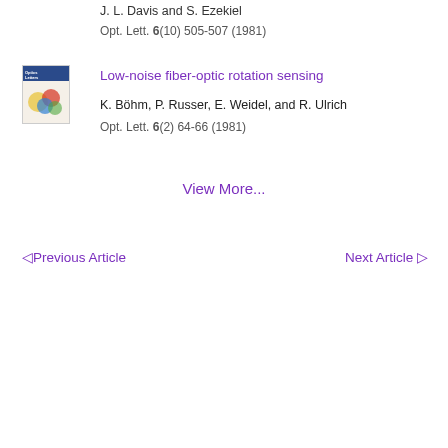J. L. Davis and S. Ezekiel
Opt. Lett. 6(10) 505-507 (1981)
[Figure (illustration): Optics Letters journal cover thumbnail showing colorful optical patterns]
Low-noise fiber-optic rotation sensing
K. Böhm, P. Russer, E. Weidel, and R. Ulrich
Opt. Lett. 6(2) 64-66 (1981)
View More...
◁ Previous Article
Next Article ▷